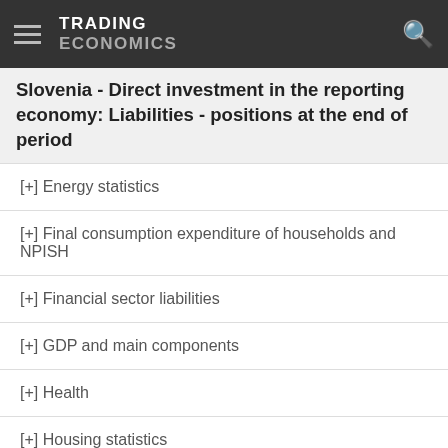TRADING ECONOMICS
Slovenia - Direct investment in the reporting economy: Liabilities - positions at the end of period
[+] Energy statistics
[+] Final consumption expenditure of households and NPISH
[+] Financial sector liabilities
[+] GDP and main components
[+] Health
[+] Housing statistics
[+] Human Resources in Science & Technology
[+] Income